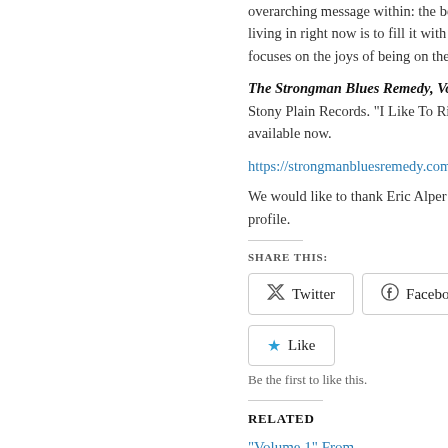overarching message within: the best way of living in right now is to fill it with music. focuses on the joys of being on the c...
The Strongman Blues Remedy, Volu... Stony Plain Records. “I Like To Ride (f... available now.
https://strongmanbluesremedy.com/...
We would like to thank Eric Alper for t... profile.
SHARE THIS:
[Figure (other): Twitter and Facebook share buttons, and a Like button with star icon. Below: 'Be the first to like this.']
Be the first to like this.
RELATED
“Volume 1” From Strongman Blues Remedy...